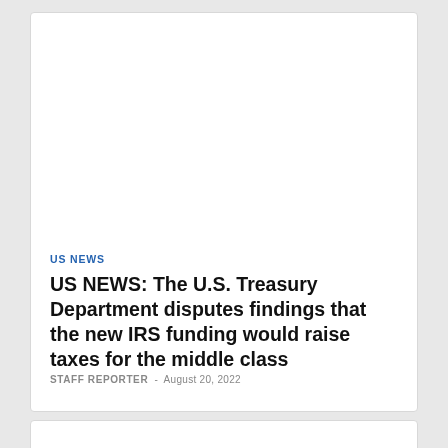US NEWS
US NEWS: The U.S. Treasury Department disputes findings that the new IRS funding would raise taxes for the middle class
STAFF REPORTER  -  August 20, 2022